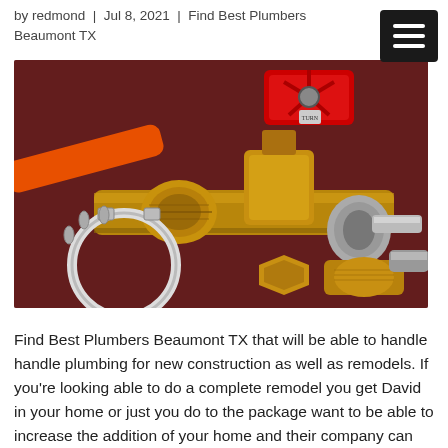by redmond | Jul 8, 2021 | Find Best Plumbers Beaumont TX
[Figure (photo): Close-up photo of brass plumbing fittings, valves, and connectors including a red gate valve, ball valves, pipe clamps, and copper/metal fittings arranged on a dark reddish-brown surface.]
Find Best Plumbers Beaumont TX that will be able to handle handle plumbing for new construction as well as remodels. If you're looking able to do a complete remodel you get David in your home or just you do to the package want to be able to increase the addition of your home and their company can execute complete overhaul all your plumbing whether be in bathrooms or maybe even in the